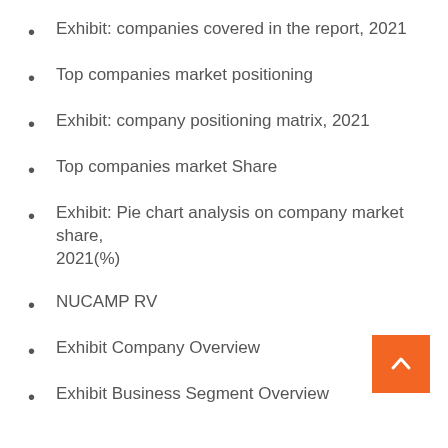Exhibit: companies covered in the report, 2021
Top companies market positioning
Exhibit: company positioning matrix, 2021
Top companies market Share
Exhibit: Pie chart analysis on company market share, 2021(%)
NUCAMP RV
Exhibit Company Overview
Exhibit Business Segment Overview